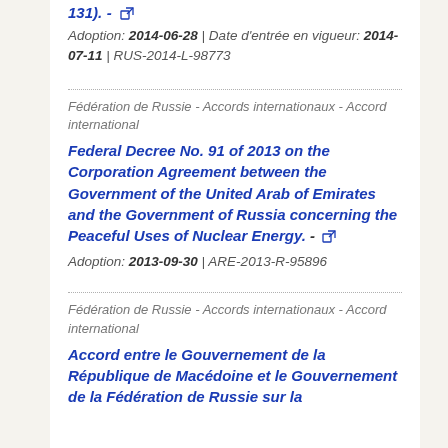131). - [external link]
Adoption: 2014-06-28 | Date d'entrée en vigueur: 2014-07-11 | RUS-2014-L-98773
Fédération de Russie - Accords internationaux - Accord international
Federal Decree No. 91 of 2013 on the Corporation Agreement between the Government of the United Arab of Emirates and the Government of Russia concerning the Peaceful Uses of Nuclear Energy.
Adoption: 2013-09-30 | ARE-2013-R-95896
Fédération de Russie - Accords internationaux - Accord international
Accord entre le Gouvernement de la République de Macédoine et le Gouvernement de la Fédération de Russie sur la